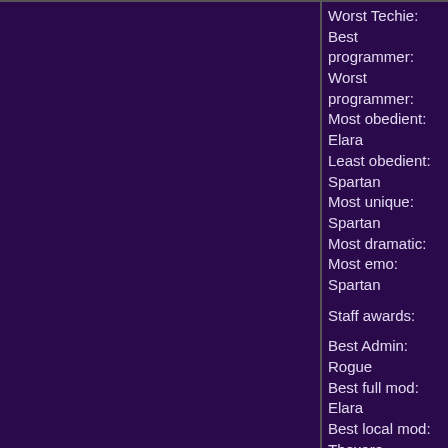Worst Techie:
Best programmer:
Worst programmer:
Most obedient: Elara
Least obedient: Spartan
Most unique: Spartan
Most dramatic:
Most emo: Spartan

Staff awards:

Best Admin: Rogue
Best full mod: Elara
Best local mod: Thexare
Best staff member: Xeo
Most valuable staff member: Xeo
Most abusive staff member: Kaijin
Most Likely to be promoted: Cairoi
Staff member who does the least:
Staff member who reacts quickest: Kaijin
Staff member who does the most for the board(excluding Xeo): Slaya
Astropbol